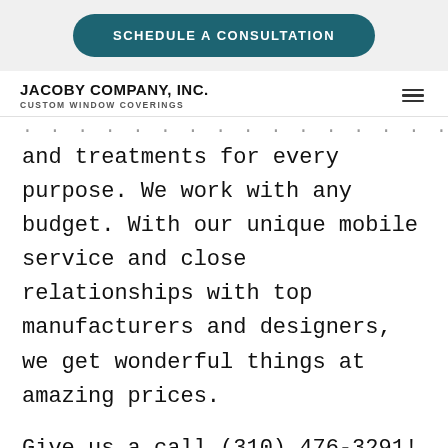[Figure (other): Navigation button: SCHEDULE A CONSULTATION on teal rounded background, in a light gray top bar]
JACOBY COMPANY, INC. CUSTOM WINDOW COVERINGS
and treatments for every purpose. We work with any budget. With our unique mobile service and close relationships with top manufacturers and designers, we get wonderful things at amazing prices.
Give us a call (310) 476-3291!